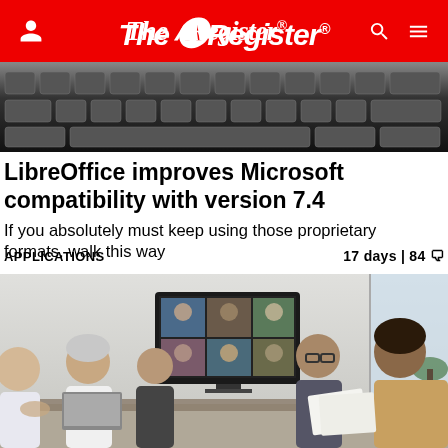The Register
[Figure (photo): Close-up of keyboard keys in black and white]
LibreOffice improves Microsoft compatibility with version 7.4
If you absolutely must keep using those proprietary formats, walk this way
APPLICATIONS   17 days | 84
[Figure (photo): Business meeting room with people seated around a table, a large display screen showing a video conference, and a plant in the background]